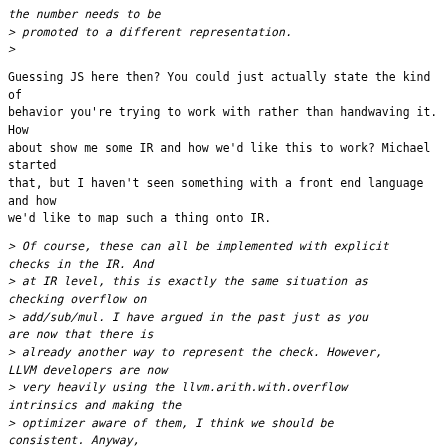the number needs to be
> promoted to a different representation.
>
Guessing JS here then? You could just actually state the kind of
behavior you're trying to work with rather than handwaving it. How
about show me some IR and how we'd like this to work? Michael started
that, but I haven't seen something with a front end language and how
we'd like to map such a thing onto IR.
> Of course, these can all be implemented with explicit checks in the IR. And
> at IR level, this is exactly the same situation as checking overflow on
> add/sub/mul. I have argued in the past just as you are now that there is
> already another way to represent the check. However, LLVM developers are now
> very heavily using the llvm.arith.with.overflow intrinsics and making the
> optimizer aware of them, I think we should be consistent. Anyway,
> implementing explicit checks in the IR (before CodeGenPrepare) tends to make
> the target independent IR heavily biased toward a particular architecture.